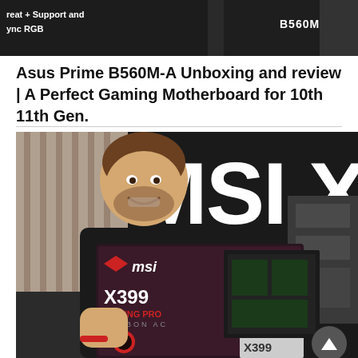[Figure (screenshot): Partial screenshot of a previous video thumbnail showing text 'B560M' and 'Sync RGB' on dark background]
Asus Prime B560M-A Unboxing and review | A Perfect Gaming Motherboard for 10th 11th Gen.
[Figure (photo): Photo of a man holding an MSI X399 Gaming Pro Carbon AC motherboard box, with large 'MSI X3' text visible in the background]